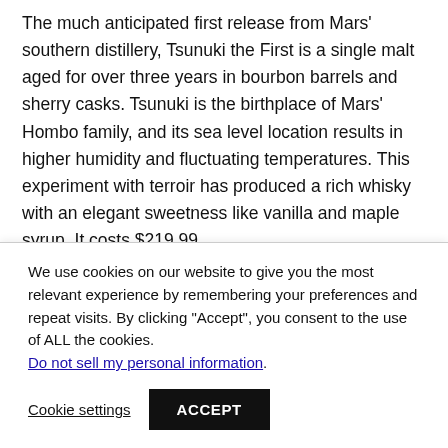The much anticipated first release from Mars' southern distillery, Tsunuki the First is a single malt aged for over three years in bourbon barrels and sherry casks. Tsunuki is the birthplace of Mars' Hombo family, and its sea level location results in higher humidity and fluctuating temperatures. This experiment with terroir has produced a rich whisky with an elegant sweetness like vanilla and maple syrup. It costs $219.99.
“It is very exciting to see the evolution of Mars as a producer,
We use cookies on our website to give you the most relevant experience by remembering your preferences and repeat visits. By clicking “Accept”, you consent to the use of ALL the cookies. Do not sell my personal information.